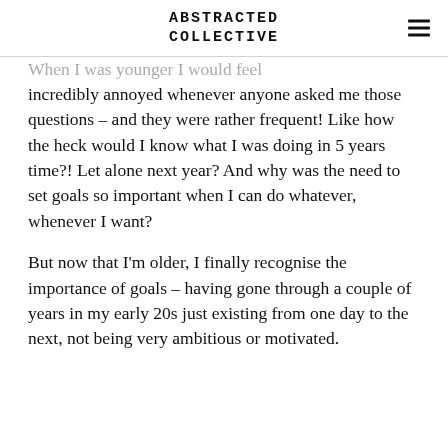ABSTRACTED COLLECTIVE
When I was younger I would feel incredibly annoyed whenever anyone asked me those questions – and they were rather frequent! Like how the heck would I know what I was doing in 5 years time?! Let alone next year? And why was the need to set goals so important when I can do whatever, whenever I want?

But now that I'm older, I finally recognise the importance of goals – having gone through a couple of years in my early 20s just existing from one day to the next, not being very ambitious or motivated.